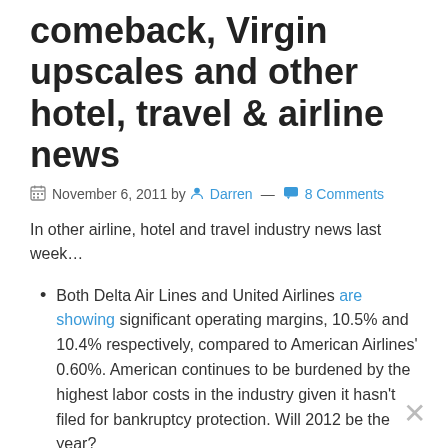comeback, Virgin upscales and other hotel, travel & airline news
November 6, 2011 by Darren — 8 Comments
In other airline, hotel and travel industry news last week…
Both Delta Air Lines and United Airlines are showing significant operating margins, 10.5% and 10.4% respectively, compared to American Airlines' 0.60%. American continues to be burdened by the highest labor costs in the industry given it hasn't filed for bankruptcy protection. Will 2012 be the year?
United is rumored to begin Washington Dulles to Dublin service next year. It will possible start in